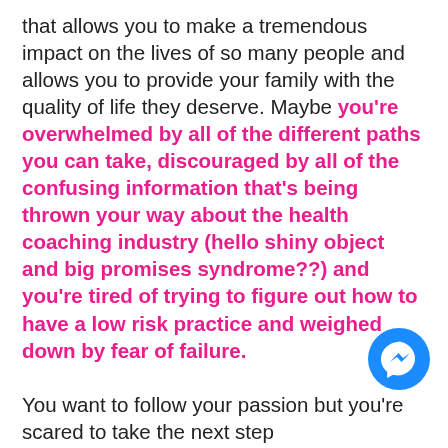that allows you to make a tremendous impact on the lives of so many people and allows you to provide your family with the quality of life they deserve. Maybe you're overwhelmed by all of the different paths you can take, discouraged by all of the confusing information that's being thrown your way about the health coaching industry (hello shiny object and big promises syndrome??) and you're tired of trying to figure out how to have a low risk practice and weighed down by fear of failure.

You want to follow your passion but you're scared to take the next step
[Figure (illustration): Blue circular Facebook Messenger button/icon in bottom right area]